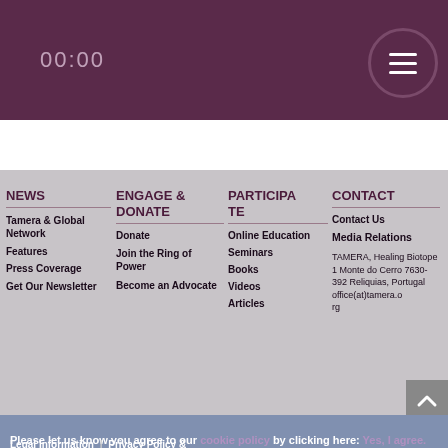00:00
NEWS
Tamera & Global Network
Features
Press Coverage
Get Our Newsletter
ENGAGE & DONATE
Donate
Join the Ring of Power
Become an Advocate
PARTICIPATE
Online Education
Seminars
Books
Videos
Articles
CONTACT
Contact Us
Media Relations
TAMERA, Healing Biotope 1
Monte do Cerro
7630-392
Reliquias, Portugal
office(at)tamera.o
rg
Please let us know you agree to our cookie policy by clicking here: Yes, I agree.
Legal Information | Privacy Policy &